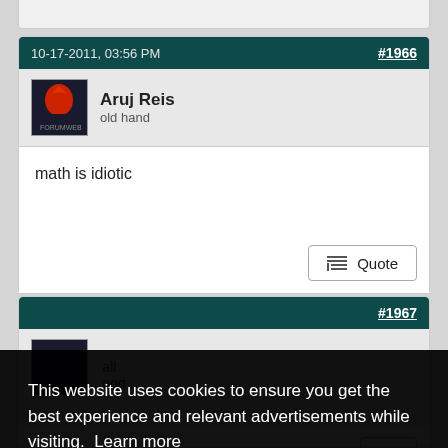10-17-2011, 03:56 PM
#1966
Aruj Reis
old hand
math is idiotic
Quote
#1967
This website uses cookies to ensure you get the best experience and relevant advertisements while visiting. Learn more
Got it!